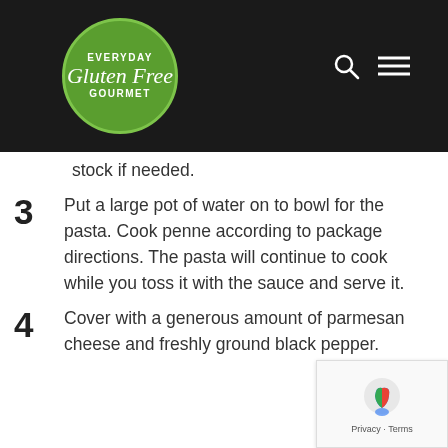Everyday Gluten Free Gourmet
stock if needed.
3 Put a large pot of water on to bowl for the pasta. Cook penne according to package directions. The pasta will continue to cook while you toss it with the sauce and serve it.
4 Cover with a generous amount of parmesan cheese and freshly ground black pepper.